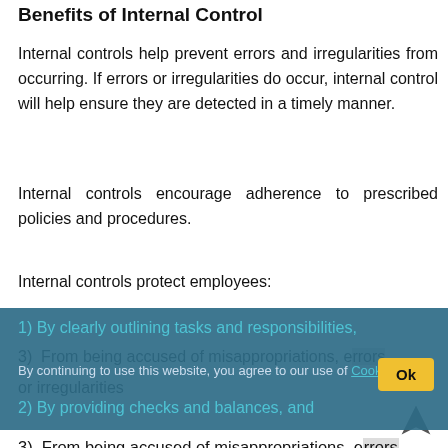Benefits of Internal Control
Internal controls help prevent errors and irregularities from occurring. If errors or irregularities do occur, internal control will help ensure they are detected in a timely manner.
Internal controls encourage adherence to prescribed policies and procedures.
Internal controls protect employees:
1) By clearly outlining tasks and responsibilities,
2) By providing checks and balances, and
3) From being accused of misappropriations, errors or irregularities